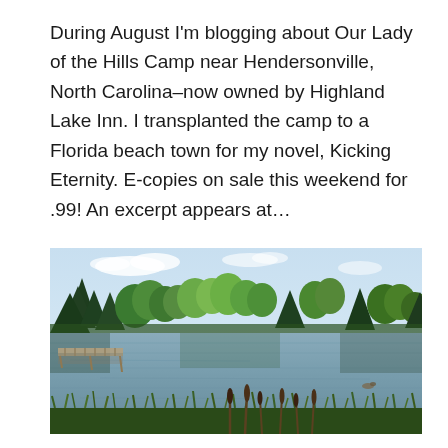During August I'm blogging about Our Lady of the Hills Camp near Hendersonville, North Carolina–now owned by Highland Lake Inn. I transplanted the camp to a Florida beach town for my novel, Kicking Eternity. E-copies on sale this weekend for .99! An excerpt appears at…
[Figure (photo): A serene lake scene with a wooden dock on the left, calm reflective water, and a dense tree line of green deciduous and evergreen trees in the background under a partly cloudy sky. Tall grasses and cattails are visible in the foreground.]